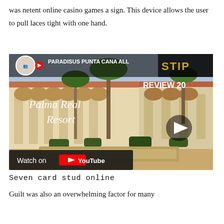was netent online casino games a sign. This device allows the user to pull laces tight with one hand.
[Figure (screenshot): YouTube video thumbnail showing a resort courtyard with palm trees and arched columns. Overlaid text reads 'PARADISUS PUNTA CANA ALL' and 'Palma Real Resort' and 'REVIEW 20'. A play button is visible. Bottom bar shows 'Watch on YouTube'.]
Seven card stud online
Guilt was also an overwhelming factor for many